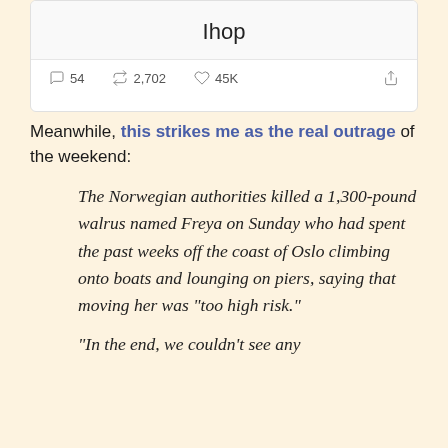[Figure (screenshot): Partial screenshot of a tweet showing the word 'Ihop' centered, with engagement stats: 54 comments, 2,702 retweets, 45K likes, and a share icon.]
Meanwhile, this strikes me as the real outrage of the weekend:
The Norwegian authorities killed a 1,300-pound walrus named Freya on Sunday who had spent the past weeks off the coast of Oslo climbing onto boats and lounging on piers, saying that moving her was “too high risk.”
“In the end, we couldn’t see any